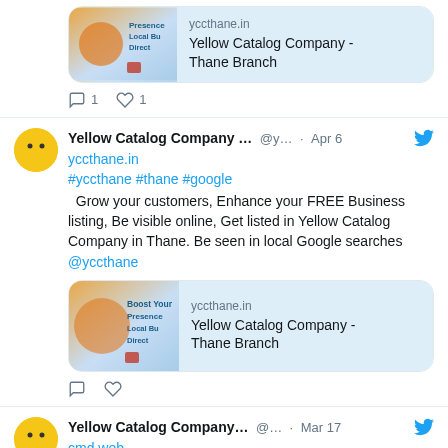[Figure (screenshot): Partial Twitter/X tweet showing a link card for Yellow Catalog Company - Thane Branch, with reply count 1 and like count 1 at the bottom]
[Figure (screenshot): Full Twitter/X tweet by Yellow Catalog Company ... @y... Apr 6. Contains link yccthane.in, hashtags #yccthane #thane #google, tweet text about growing customers and FREE Business listing for Yellow Catalog Company in Thane, a link card for yccthane.in Yellow Catalog Company - Thane Branch, and empty reply/like icons.]
[Figure (screenshot): Partial Twitter/X tweet by Yellow Catalog Company... @... Mar 17, partially visible at bottom of page]